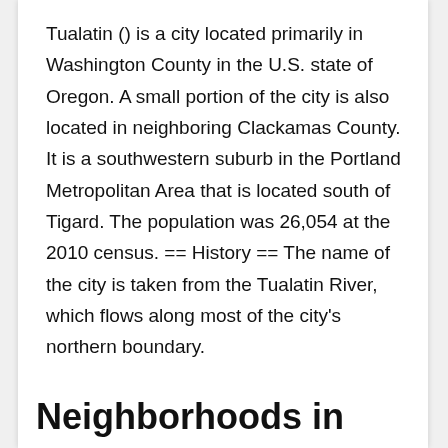Tualatin () is a city located primarily in Washington County in the U.S. state of Oregon. A small portion of the city is also located in neighboring Clackamas County. It is a southwestern suburb in the Portland Metropolitan Area that is located south of Tigard. The population was 26,054 at the 2010 census. == History == The name of the city is taken from the Tualatin River, which flows along most of the city's northern boundary.
Neighborhoods in